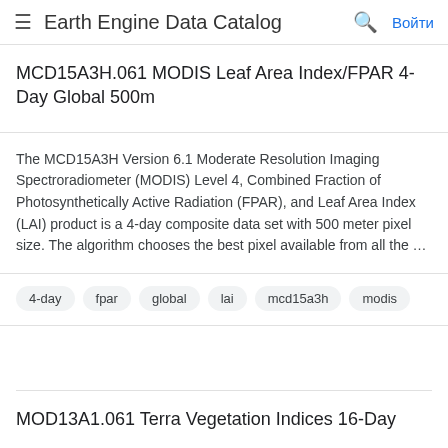Earth Engine Data Catalog  Войти
MCD15A3H.061 MODIS Leaf Area Index/FPAR 4-Day Global 500m
The MCD15A3H Version 6.1 Moderate Resolution Imaging Spectroradiometer (MODIS) Level 4, Combined Fraction of Photosynthetically Active Radiation (FPAR), and Leaf Area Index (LAI) product is a 4-day composite data set with 500 meter pixel size. The algorithm chooses the best pixel available from all the …
4-day
fpar
global
lai
mcd15a3h
modis
MOD13A1.061 Terra Vegetation Indices 16-Day